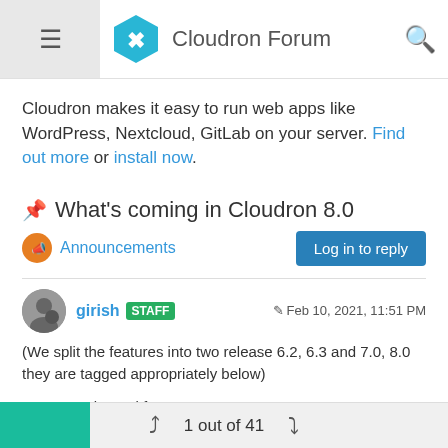Cloudron Forum
Cloudron makes it easy to run web apps like WordPress, Nextcloud, GitLab on your server. Find out more or install now.
What's coming in Cloudron 8.0
Announcements
Log in to reply
girish STAFF  Feb 10, 2021, 11:51 PM
(We split the features into two release 6.2, 6.3 and 7.0, 8.0 they are tagged appropriately below)
Features planned for 8.0:
1 out of 41